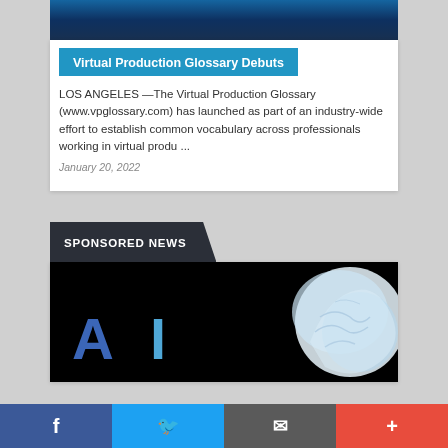[Figure (photo): Dark blue/black technology themed image at top of card]
Virtual Production Glossary Debuts
LOS ANGELES —The Virtual Production Glossary (www.vpglossary.com) has launched as part of an industry-wide effort to establish common vocabulary across professionals working in virtual produ ...
January 20, 2022
SPONSORED NEWS
[Figure (photo): Dark background image with large blue 'AI' letters on left and a metallic/crystal brain on the right]